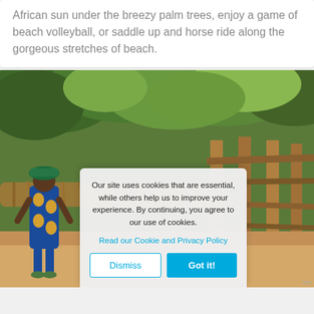African sun under the breezy palm trees, enjoy a game of beach volleyball, or saddle up and horse ride along the gorgeous stretches of beach.
[Figure (photo): Outdoor scene in Africa showing a woman in colorful blue and yellow patterned clothing carrying a large bundle of sticks/wood on her head, with lush green trees in the background and other people visible. A cookie consent dialog overlays the lower portion of the image.]
Our site uses cookies that are essential, while others help us to improve your experience. By continuing, you agree to our use of cookies.
Read our Cookie and Privacy Policy
Dismiss
Got it!